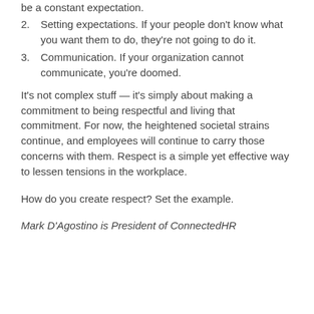2. Setting expectations. If your people don't know what you want them to do, they're not going to do it.
3. Communication. If your organization cannot communicate, you're doomed.
It's not complex stuff — it's simply about making a commitment to being respectful and living that commitment. For now, the heightened societal strains continue, and employees will continue to carry those concerns with them. Respect is a simple yet effective way to lessen tensions in the workplace.
How do you create respect? Set the example.
Mark D'Agostino is President of ConnectedHR